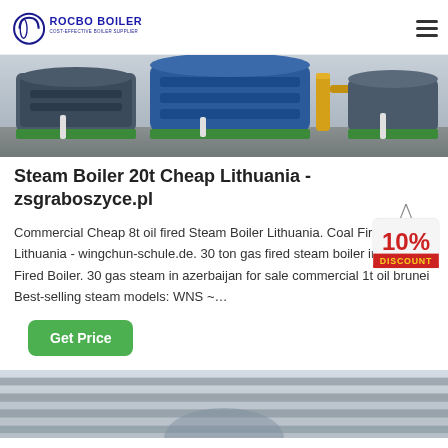ROCBO BOILER — COST-EFFECTIVE BOILER SUPPLIER
[Figure (photo): Industrial steam boilers in a factory setting, showing large blue-grey boiler equipment with yellow pipe fittings and green bases]
Steam Boiler 20t Cheap Lithuania - zsgraboszyce.pl
[Figure (illustration): 10% DISCOUNT badge hanging sign in red and yellow]
Commercial Cheap 8t oil fired Steam Boiler Lithuania. Coal Fired Boiler Lithuania - wingchun-schule.de. 30 ton gas fired steam boiler in - Coal Fired Boiler. 30 gas steam in azerbaijan for sale commercial 1t oil brunei Best-selling steam models: WNS ~…
[Figure (photo): Close-up of metallic corrugated industrial boiler surface in grey tones]